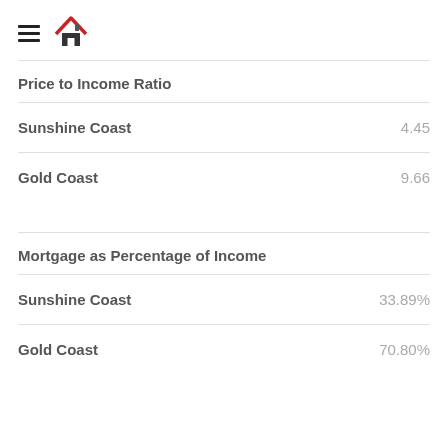≡ 🏠
Price to Income Ratio
|  |  |
| --- | --- |
| Sunshine Coast | 4.45 |
| Gold Coast | 9.66 |
Mortgage as Percentage of Income
|  |  |
| --- | --- |
| Sunshine Coast | 33.89% |
| Gold Coast | 70.80% |